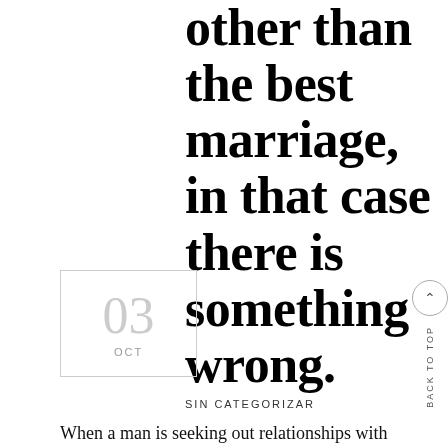other than the best marriage, in that case there is something wrong.
03
OCT
SIN CATEGORIZAR
When a man is seeking out relationships with Russian women of all ages, how do you understand whether or not you may trust these